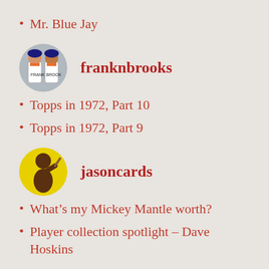Mr. Blue Jay
[Figure (photo): Circular avatar of franknbrooks showing two baseball players]
franknbrooks
Topps in 1972, Part 10
Topps in 1972, Part 9
[Figure (photo): Circular avatar of jasoncards showing a baseball player on yellow background]
jasoncards
What’s my Mickey Mantle worth?
Player collection spotlight – Dave Hoskins
[Figure (logo): Circular pink avatar with dice/dots icon for Joe Corso]
Joe Corso
Slaying the Monster: A Milestone and Observations